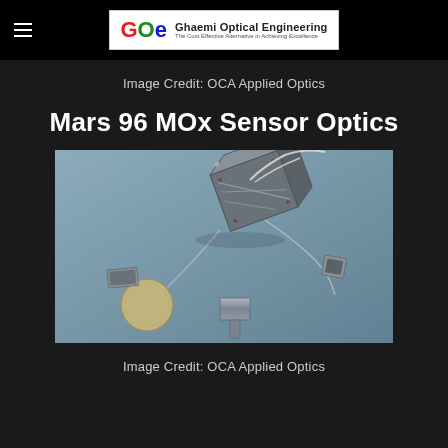Ghaemi Optical Engineering — The Cost Effective Alternative in Achieving Excellence
Image Credit: OCA Applied Optics
Mars 96 MOx Sensor Optics
[Figure (photo): Photograph of Mars 96 MOx Sensor Optics components laid out on a blue surface, including a central optical assembly with wires, a coin for scale, and several small optical components, credited to OCA Applied Optics.]
Image Credit: OCA Applied Optics